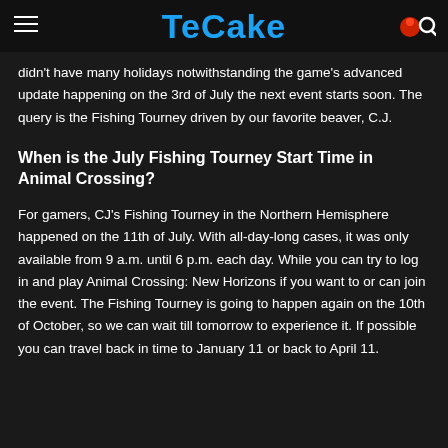TeCake
didn't have many holidays notwithstanding the game's advanced update happening on the 3rd of July the next event starts soon. The query is the Fishing Tourney driven by our favorite beaver, C.J.
When is the July Fishing Tourney Start Time in Animal Crossing?
For gamers, CJ's Fishing Tourney in the Northern Hemisphere happened on the 11th of July. With all-day-long cases, it was only available from 9 a.m. until 6 p.m. each day. While you can try to log in and play Animal Crossing: New Horizons if you want to or can join the event. The Fishing Tourney is going to happen again on the 10th of October, so we can wait till tomorrow to experience it. If possible you can travel back in time to January 11 or back to April 11.